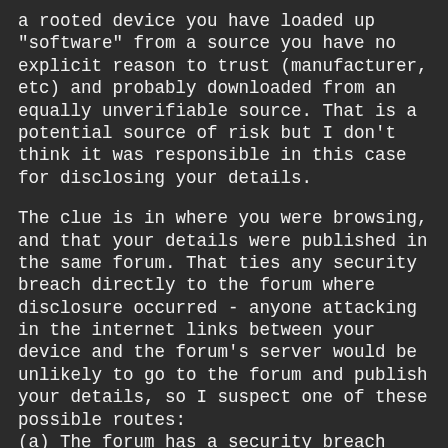a rooted device you have loaded up "software" from a source you have no explicit reason to trust (manufacturer, etc) and probably downloaded from an equally unverifiable source. That is a potential source of risk but I don't think it was responsible in this case for disclosing your details.
The clue is in where you were browsing, and that your details were published in the same forum. That ties any security breach directly to the forum where disclosure occurred - anyone attacking in the internet links between your device and the forum's server would be unlikely to go to the forum and publish your details, so I suspect one of these possible routes: (a) The forum has a security breach which allows some other users to access the sign-up and login details of other members. We know some forum software is vulnerable to such attacks, we had an attempt here at CrackBerry to exploit a bug in some versions of the software and create rogue